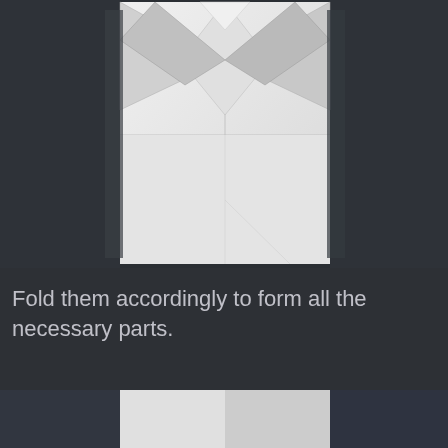[Figure (photo): A white sheet of paper folded into an origami shape resembling a shirt or cross with angular folds at the top, photographed against a dark background.]
Fold them accordingly to form all the necessary parts.
[Figure (photo): Partial view of another folded white paper origami step, cropped at the bottom of the page, showing a lighter folded section against darker panels.]